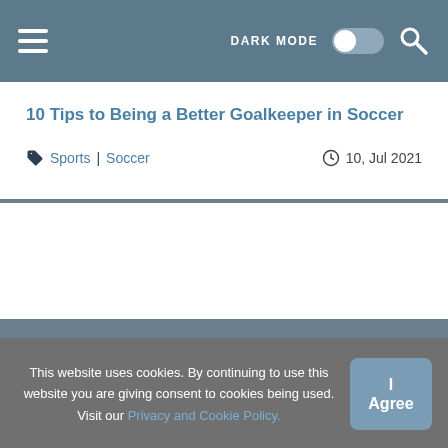DARK MODE [toggle] [search]
10 Tips to Being a Better Goalkeeper in Soccer
Sports | Soccer   10, Jul 2021
[Figure (other): Empty white card placeholder for article image]
This website uses cookies. By continuing to use this website you are giving consent to cookies being used. Visit our Privacy and Cookie Policy.